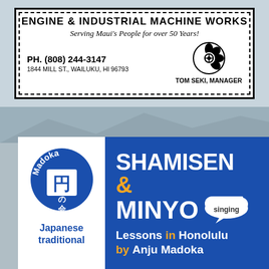[Figure (other): Business advertisement for Engine & Industrial Machine Works with dashed border box, flower logo, phone number, address, and manager name]
[Figure (other): Madoka Japanese traditional music school advertisement. Blue banner with white left panel showing Madoka logo (円の会) and 'Japanese traditional'. Right side shows 'SHAMISEN & MINYO singing Lessons in Honolulu by Anju Madoka' in white and orange text.]